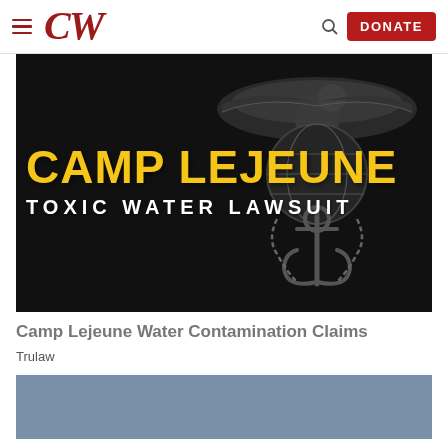CW — navigation bar with hamburger menu, CW logo, search icon, and DONATE button
[Figure (photo): Camp Lejeune Toxic Water Lawsuit promotional image: dark background with US Marine Corps globe and anchor emblem on the right, large yellow bold text 'CAMP LEJEUNE' and white text 'TOXIC WATER LAWSUIT']
Camp Lejeune Water Contamination Claims
Trulaw
[Figure (photo): Partial second image with blue-gray/slate background, partially visible at the bottom of the page]